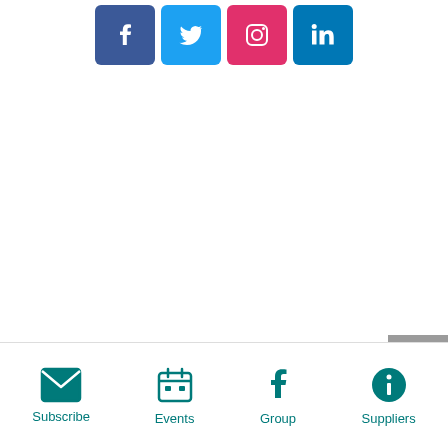[Figure (infographic): Row of four social media icon buttons: Facebook (dark blue), Twitter (sky blue), Instagram (pink/red), LinkedIn (blue)]
[Figure (infographic): Gray back-to-top button with upward chevron arrow, positioned at right edge]
[Figure (infographic): Bottom navigation bar with four teal icon+label items: Subscribe (envelope), Events (calendar), Group (Facebook icon), Suppliers (info circle)]